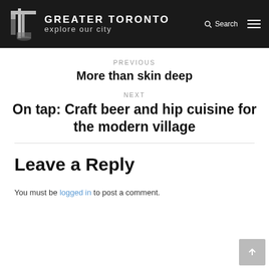GREATER TORONTO explore our city
PREVIOUS
More than skin deep
NEXT
On tap: Craft beer and hip cuisine for the modern village
Leave a Reply
You must be logged in to post a comment.